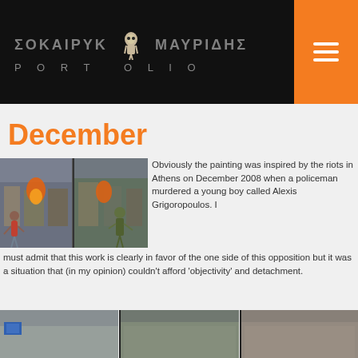ΣΟΚΑΙΡΥΚ ΜΑΥΡΙΔΗΣ PORTFOLIO
December
[Figure (photo): Two thumbnail images of paintings depicting Athens December 2008 riots scene]
Obviously the painting was inspired by the riots in Athens on December 2008 when a policeman murdered a young boy called Alexis Grigoropoulos. I must admit that this work is clearly in favor of the one side of this opposition but it was a situation that (in my opinion) couldn't afford 'objectivity' and detachment.
[Figure (photo): Three larger images of December riot paintings showing figures throwing molotov cocktails against police]